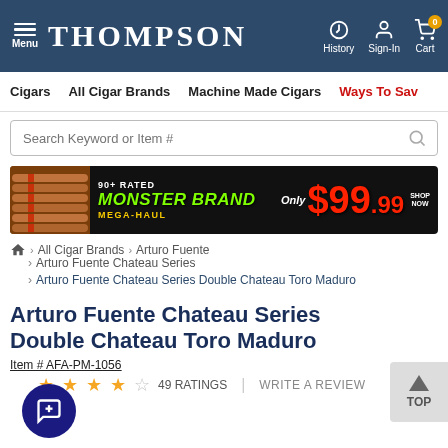THOMPSON — Menu | History | Sign-In | Cart
Cigars   All Cigar Brands   Machine Made Cigars   Ways To Save
Search Keyword or Item #
[Figure (infographic): 90+ RATED MONSTER BRAND MEGA-HAUL Only $99.99 SHOP NOW banner advertisement with cigars image]
Home > All Cigar Brands > Arturo Fuente
> Arturo Fuente Chateau Series
> Arturo Fuente Chateau Series Double Chateau Toro Maduro
Arturo Fuente Chateau Series Double Chateau Toro Maduro
Item # AFA-PM-1056
★★★★☆ 49 RATINGS   |   WRITE A REVIEW